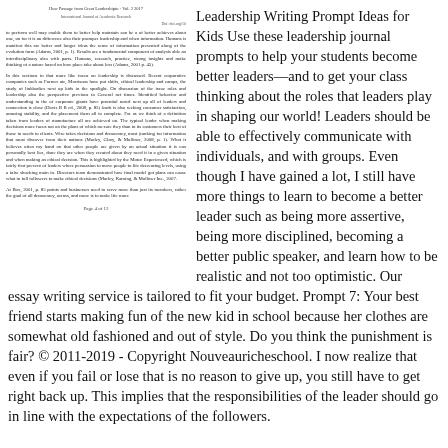Leadership Writing Prompt Ideas for Kids Use these leadership journal prompts to help your students become better leaders—and to get your class thinking about the roles that leaders play in shaping our world! Leaders should be able to effectively communicate with individuals, and with groups. Even though I have gained a lot, I still have more things to learn to become a better leader such as being more assertive, being more disciplined, becoming a better public speaker, and learn how to be realistic and not too optimistic. Our essay writing service is tailored to fit your budget. Prompt 7: Your best friend starts making fun of the new kid in school because her clothes are somewhat old fashioned and out of style. Do you think the punishment is fair? © 2011-2019 - Copyright Nouveauricheschool. I now realize that even if you fail or lose that is no reason to give up, you still have to get right back up. This implies that the responsibilities of the leader should go in line with the expectations of the followers.
Left column document text (small, body of academic paper with page number Page 4 of 12)